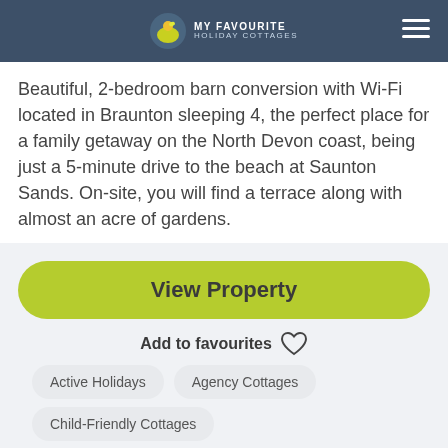MY FAVOURITE HOLIDAY COTTAGES
Beautiful, 2-bedroom barn conversion with Wi-Fi located in Braunton sleeping 4, the perfect place for a family getaway on the North Devon coast, being just a 5-minute drive to the beach at Saunton Sands. On-site, you will find a terrace along with almost an acre of gardens.
View Property
Add to favourites
Active Holidays
Agency Cottages
Child-Friendly Cottages
Coastal Cottages
Countryside Cottages